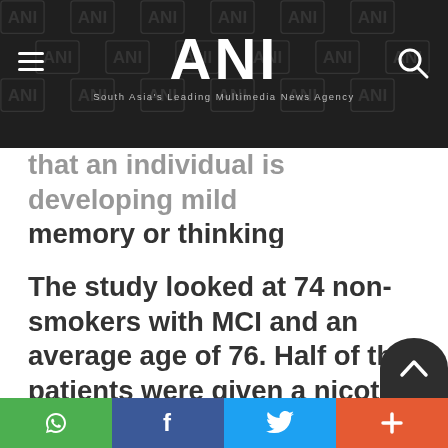ANI — South Asia's Leading Multimedia News Agency
that an individual is developing mild memory or thinking problems. Many older adults with MCI go on to develop Alzheimer's disease.
The study looked at 74 non-smokers with MCI and an average age of 76. Half of the patients were given a nicotine patch of 15 mg a day for six months and half received a placebo. The study was designed so neither the participants nor the investigators knew which group
Social share buttons: WhatsApp, Facebook, Twitter, More